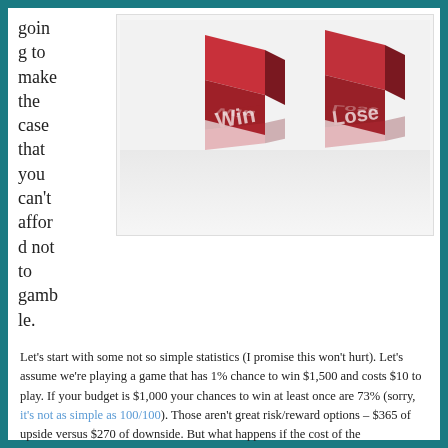going to make the case that you can't afford not to gamble.
[Figure (photo): Two red dice, one showing 'Win' and one showing 'Lose', with reflections on a glossy white surface.]
Let's start with some not so simple statistics (I promise this won't hurt).  Let's assume we're playing a game that has 1% chance to win $1,500 and costs $10 to play.  If your budget is $1,000 your chances to win at least once are 73% (sorry, it's not as simple as 100/100).  Those aren't great risk/reward options – $365 of upside versus $270 of downside.  But what happens if the cost of the